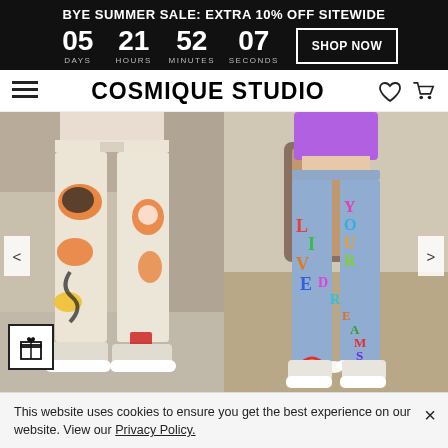BYE SUMMER SALE: EXTRA 10% OFF SITEWIDE
05 DAYS  21 HOURS  52 MINUTES  07 SECONDS  SHOP NOW
COSMIQUE STUDIO
[Figure (photo): Two product photos side by side: left shows a person wearing white graphic print sweatpants with colorful skull and graffiti designs; right shows a person wearing light blue jeans with colorful painted letters reading 'LIVE YOUR DREAMS' with rainbow and cloud designs.]
This website uses cookies to ensure you get the best experience on our website. View our Privacy Policy.